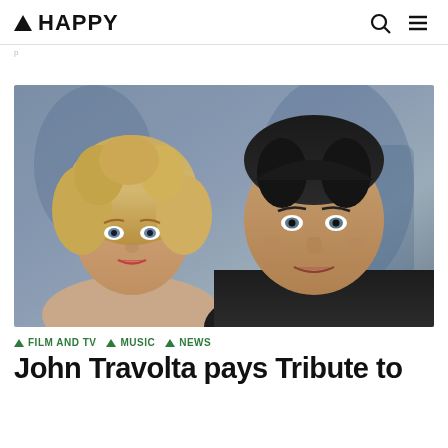▲ HAPPY
p 1
[Figure (photo): Promotional photo of two people from the movie Grease — a blonde curly-haired woman on the left and a dark-haired man on the right wearing a black sleeveless shirt, with a painted mural background in blue tones.]
▲ FILM AND TV  ▲ MUSIC  ▲ NEWS
John Travolta pays Tribute to